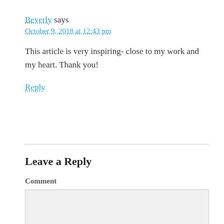Beverly says
October 9, 2018 at 12:43 pm
This article is very inspiring- close to my work and my heart. Thank you!
Reply
Leave a Reply
Comment